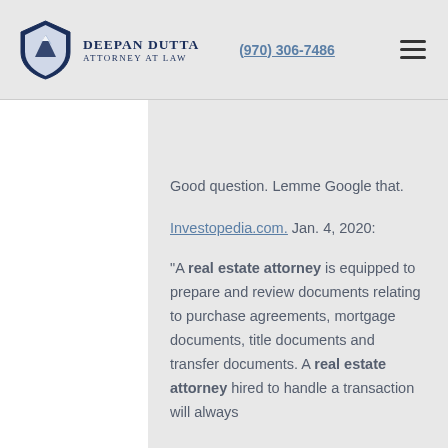Deepan Dutta Attorney at Law | (970) 306-7486
Good question. Lemme Google that.
Investopedia.com. Jan. 4, 2020:
"A real estate attorney is equipped to prepare and review documents relating to purchase agreements, mortgage documents, title documents and transfer documents. A real estate attorney hired to handle a transaction will always